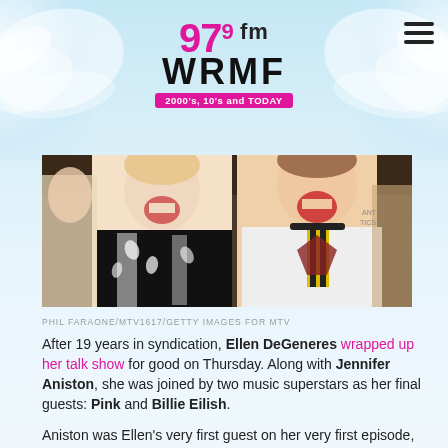97.9 fm WRMF — 2000's, 10's and TODAY
[Figure (photo): Two women laughing and smiling together at what appears to be a music event. The person on the left wears a black and white floral/leaf print jacket, the person on the right wears a white outfit with a yellow and black striped tie.]
PHIL FARAONE/MTV1617/GETTY IMAGES FOR MTV
After 19 years in syndication, Ellen DeGeneres wrapped up her talk show for good on Thursday. Along with Jennifer Aniston, she was joined by two music superstars as her final guests: Pink and Billie Eilish.
Aniston was Ellen's very first guest on her very first episode, so it was fitting that she appeared on this final show. After Aniston's appearance came Billie